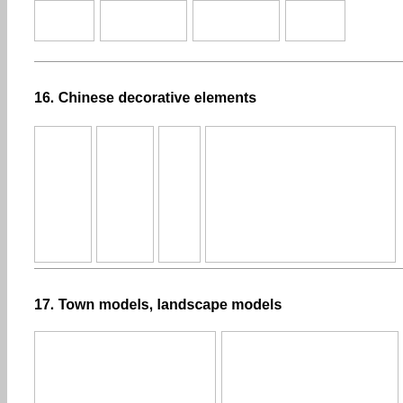[Figure (other): Partial top row of image placeholder boxes from previous section (cropped)]
16. Chinese decorative elements
[Figure (other): Four tall vertical image placeholder boxes for Chinese decorative elements section]
17. Town models, landscape models
[Figure (other): Two large image placeholder boxes for Town models, landscape models section (partially visible)]